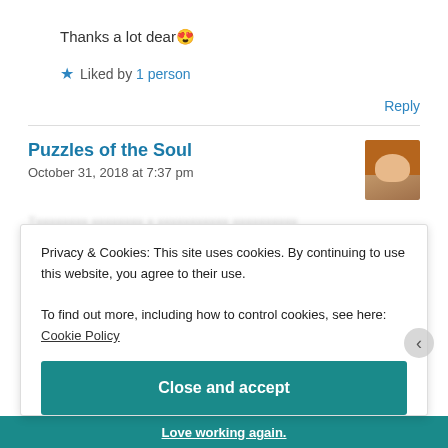Thanks a lot dear 😍
★ Liked by 1 person
Reply
Puzzles of the Soul
October 31, 2018 at 7:37 pm
Privacy & Cookies: This site uses cookies. By continuing to use this website, you agree to their use.
To find out more, including how to control cookies, see here: Cookie Policy
Close and accept
Love working again.